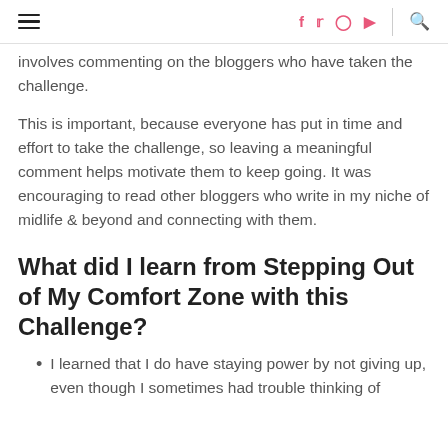[hamburger menu] [social icons: f, twitter, instagram, youtube] [search]
involves commenting on the bloggers who have taken the challenge.
This is important, because everyone has put in time and effort to take the challenge, so leaving a meaningful comment helps motivate them to keep going. It was encouraging to read other bloggers who write in my niche of midlife & beyond and connecting with them.
What did I learn from Stepping Out of My Comfort Zone with this Challenge?
I learned that I do have staying power by not giving up, even though I sometimes had trouble thinking of